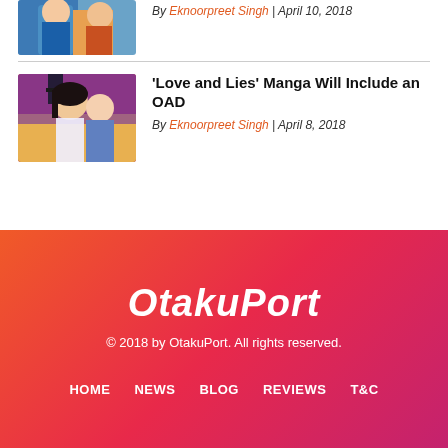[Figure (illustration): Partial anime illustration at top left, characters in blue clothing]
By Eknoorpreet Singh | April 10, 2018
[Figure (illustration): Anime illustration showing two characters, girl with dark hair in foreground]
'Love and Lies' Manga Will Include an OAD
By Eknoorpreet Singh | April 8, 2018
OtakuPort © 2018 by OtakuPort. All rights reserved. HOME NEWS BLOG REVIEWS T&C